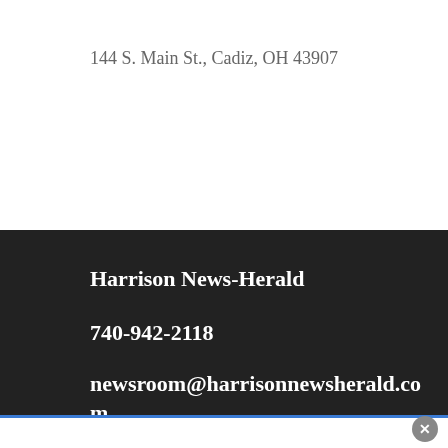144 S. Main St., Cadiz, OH 43907
Harrison News-Herald
740-942-2118
newsroom@harrisonnewsherald.com